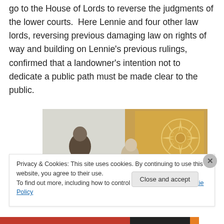go to the House of Lords to reverse the judgments of the lower courts. Here Lennie and four other law lords, reversing previous damaging law on rights of way and building on Lennie's previous rulings, confirmed that a landowner's intention not to dedicate a public path must be made clear to the public.
[Figure (photo): A photograph showing two people at what appears to be a formal setting with a decorative panel featuring a sun/compass rose design on the right side.]
Privacy & Cookies: This site uses cookies. By continuing to use this website, you agree to their use.
To find out more, including how to control cookies, see here: Cookie Policy